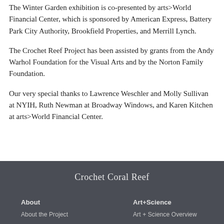The Winter Garden exhibition is co-presented by arts>World Financial Center, which is sponsored by American Express, Battery Park City Authority, Brookfield Properties, and Merrill Lynch.
The Crochet Reef Project has been assisted by grants from the Andy Warhol Foundation for the Visual Arts and by the Norton Family Foundation.
Our very special thanks to Lawrence Weschler and Molly Sullivan at NYIH, Ruth Newman at Broadway Windows, and Karen Kitchen at arts>World Financial Center.
Crochet Coral Reef
About | Art+Science
About the Project | Art + Science Overview